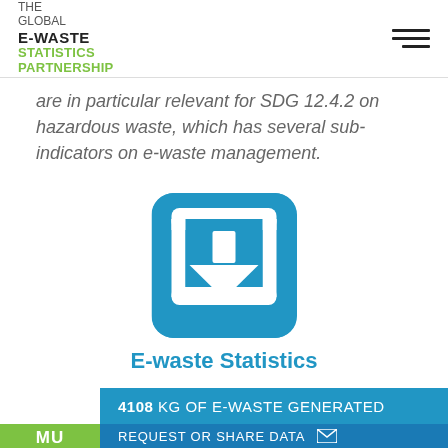THE GLOBAL E-WASTE STATISTICS PARTNERSHIP
are in particular relevant for SDG 12.4.2 on hazardous waste, which has several sub-indicators on e-waste management.
[Figure (illustration): Blue rounded square icon with a white downward arrow/download symbol in the center]
E-waste Statistics Tool
4108 KG OF E-WASTE GENERATED
REQUEST OR SHARE DATA